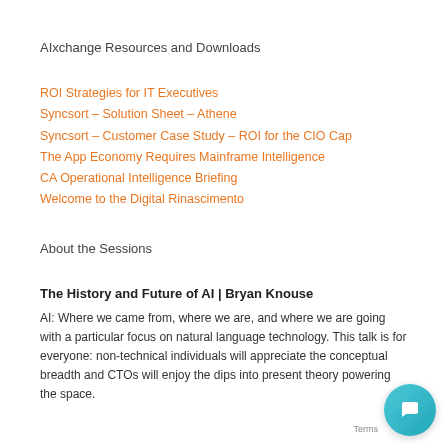AIxchange Resources and Downloads
ROI Strategies for IT Executives
Syncsort – Solution Sheet – Athene
Syncsort – Customer Case Study – ROI for the CIO Cap
The App Economy Requires Mainframe Intelligence
CA Operational Intelligence Briefing
Welcome to the Digital Rinascimento
About the Sessions
The History and Future of AI | Bryan Knouse
AI: Where we came from, where we are, and where we are going with a particular focus on natural language technology. This talk is for everyone: non-technical individuals will appreciate the conceptual breadth and CTOs will enjoy the dips into present theory powering the space.